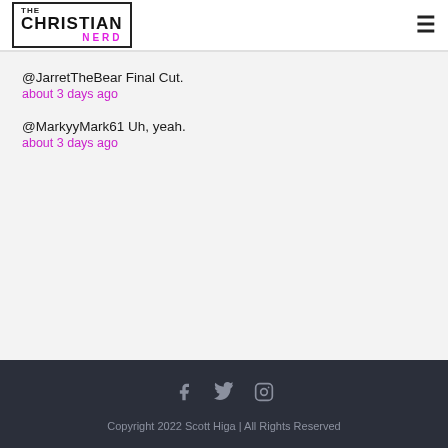The Christian Nerd
@JarretTheBear Final Cut.
about 3 days ago
@MarkyyMark61 Uh, yeah.
about 3 days ago
Copyright 2022 Scott Higa | All Rights Reserved